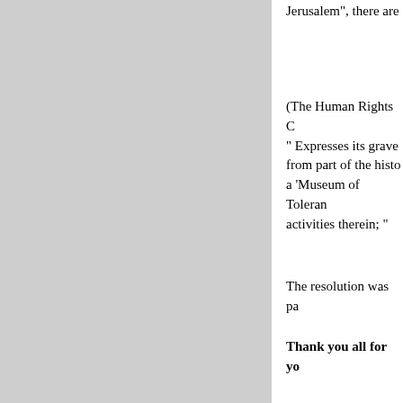Jerusalem", there are
(The Human Rights C
" Expresses its grave
from part of the histo
a 'Museum of Toleran
activities therein; "
The resolution was pa
Thank you all for yo
Huda al Imam
Director
The Centre for Jerusa
Al Quds University
Jerusalem
http://www.jerusalem-s